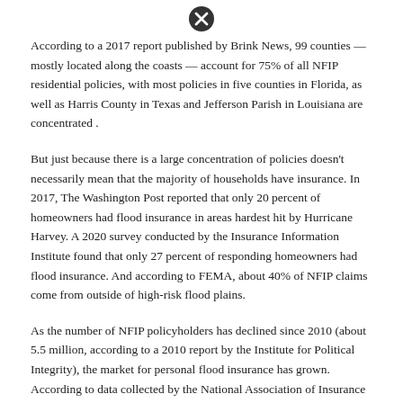[Figure (other): Close/cancel icon (circle with X) at top of page]
According to a 2017 report published by Brink News, 99 counties — mostly located along the coasts — account for 75% of all NFIP residential policies, with most policies in five counties in Florida, as well as Harris County in Texas and Jefferson Parish in Louisiana are concentrated .
But just because there is a large concentration of policies doesn't necessarily mean that the majority of households have insurance. In 2017, The Washington Post reported that only 20 percent of homeowners had flood insurance in areas hardest hit by Hurricane Harvey. A 2020 survey conducted by the Insurance Information Institute found that only 27 percent of responding homeowners had flood insurance. And according to FEMA, about 40% of NFIP claims come from outside of high-risk flood plains.
As the number of NFIP policyholders has declined since 2010 (about 5.5 million, according to a 2010 report by the Institute for Political Integrity), the market for personal flood insurance has grown. According to data collected by the National Association of Insurance Commissioners, there are at least
[Figure (other): Close/cancel icon (circle with X) at bottom of page]